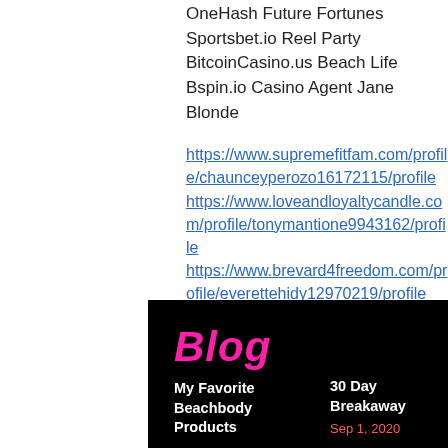OneHash Future Fortunes
Sportsbet.io Reel Party
BitcoinCasino.us Beach Life
Bspin.io Casino Agent Jane Blonde
https://www.supremefitfam.com/profile/chaunceyperozo16172115/profile
https://www.loveandloyaltycandle.com/profile/tonymantione9943162/profile
https://www.brevard4freedom.com/profile/everettehidy12970219/profile
https://www.onpointscans.com/profile/svetlanavelardi15387349/profile
[Figure (screenshot): Blog section on black background with pink 'Blog' logo, two article previews: 'My Favorite Beachbody Products' and '30 Day Breakaway' with date 'Sep 1, 2020']